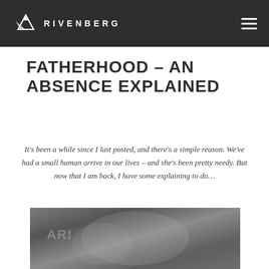RIVENBERG
FATHERHOOD – AN ABSENCE EXPLAINED
It's been a while since I last posted, and there's a simple reason. We've had a small human arrive in our lives – and she's been pretty needy. But now that I am back, I have some explaining to do…
[Figure (photo): Black and white close-up photo of a baby or newborn, partially visible at the bottom of the page]